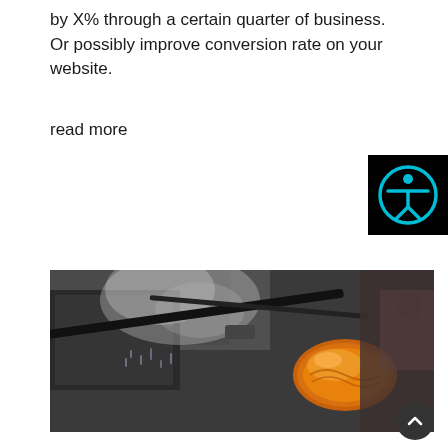by X% through a certain quarter of business. Or possibly improve conversion rate on your website.
read more
[Figure (logo): Accessibility icon: black square background with a teal circle containing a white human figure with arms outstretched]
[Figure (photo): Close-up photo of glassblowing — a glowing amber molten glass blob on the end of a metal rod, with steam and water spray in the background, dark industrial setting]